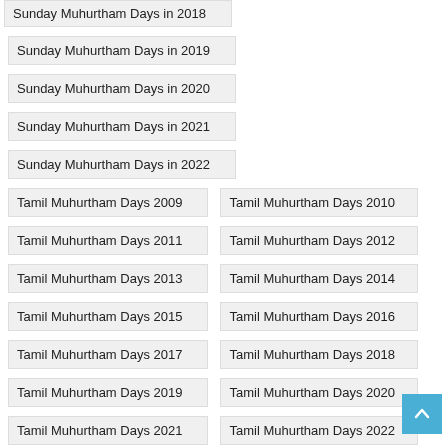Sunday Muhurtham Days in 2018
Sunday Muhurtham Days in 2019
Sunday Muhurtham Days in 2020
Sunday Muhurtham Days in 2021
Sunday Muhurtham Days in 2022
Tamil Muhurtham Days 2009
Tamil Muhurtham Days 2010
Tamil Muhurtham Days 2011
Tamil Muhurtham Days 2012
Tamil Muhurtham Days 2013
Tamil Muhurtham Days 2014
Tamil Muhurtham Days 2015
Tamil Muhurtham Days 2016
Tamil Muhurtham Days 2017
Tamil Muhurtham Days 2018
Tamil Muhurtham Days 2019
Tamil Muhurtham Days 2020
Tamil Muhurtham Days 2021
Tamil Muhurtham Days 2022
Tamil Wedding Days 2009
Tamil Wedding Days 2010
Tamil Wedding Days 2011
Tamil Wedding Days 2012